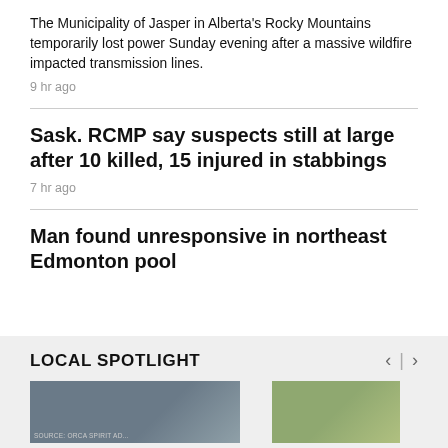The Municipality of Jasper in Alberta's Rocky Mountains temporarily lost power Sunday evening after a massive wildfire impacted transmission lines.
9 hr ago
Sask. RCMP say suspects still at large after 10 killed, 15 injured in stabbings
7 hr ago
Man found unresponsive in northeast Edmonton pool
LOCAL SPOTLIGHT
[Figure (photo): Two thumbnail images for Local Spotlight section showing news stories]